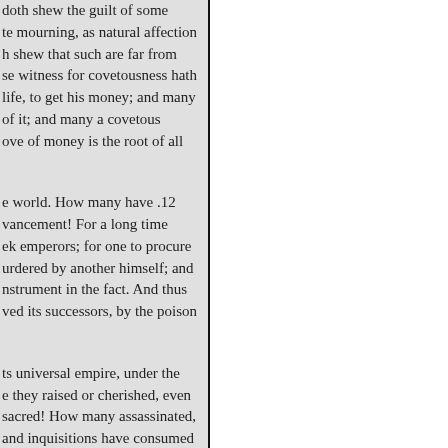doth shew the guilt of some te mourning, as natural affection h shew that such are far from se witness for covetousness hath life, to get his money; and many of it; and many a covetous ove of money is the root of all
e world. How many have .12 vancement! For a long time ek emperors; for one to procure urdered by another himself; and nstrument in the fact. And thus ved its successors, by the poison
ts universal empire, under the e they raised or cherished, even sacred! How many assassinated, and inquisitions have consumed in Munster, and in England, (the worked in the same way of